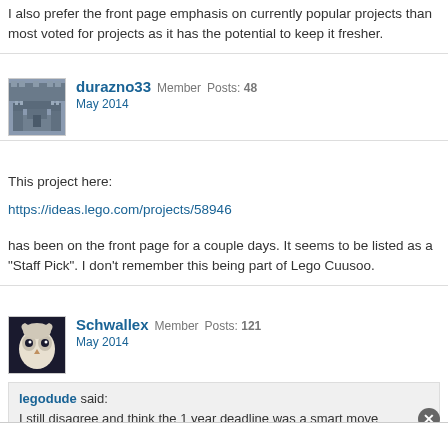I also prefer the front page emphasis on currently popular projects than most voted for projects as it has the potential to keep it fresher.
durazno33 Member Posts: 48
May 2014
This project here:
https://ideas.lego.com/projects/58946
has been on the front page for a couple days. It seems to be listed as a "Staff Pick". I don't remember this being part of Lego Cuusoo.
Schwallex Member Posts: 121
May 2014
legodude said:
I still disagree and think the 1 year deadline was a smart move